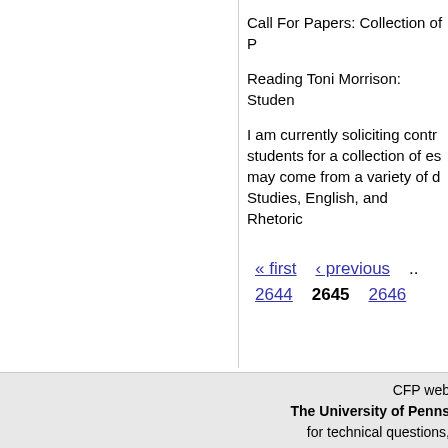Call For Papers: Collection of P
Reading Toni Morrison: Studen
I am currently soliciting contr students for a collection of es may come from a variety of d Studies, English, and Rhetoric
« first  ‹ previous  ...  2644  2645  2646
CFP web The University of Penns for technical questions,